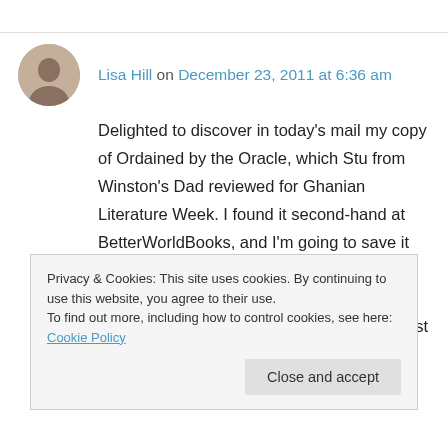Lisa Hill on December 23, 2011 at 6:36 am
Delighted to discover in today's mail my copy of Ordained by the Oracle, which Stu from Winston's Dad reviewed for Ghanian Literature Week. I found it second-hand at BetterWorldBooks, and I'm going to save it for next year's Ghanian Book Week. That's being well-prepared, eh? WHile I'm here I'd like to wish you all the best for
Privacy & Cookies: This site uses cookies. By continuing to use this website, you agree to their use. To find out more, including how to control cookies, see here: Cookie Policy
Close and accept